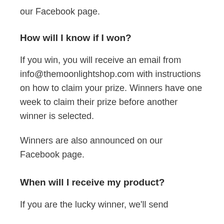our Facebook page.
How will I know if I won?
If you win, you will receive an email from info@themoonlightshop.com with instructions on how to claim your prize. Winners have one week to claim their prize before another winner is selected.
Winners are also announced on our Facebook page.
When will I receive my product?
If you are the lucky winner, we'll send